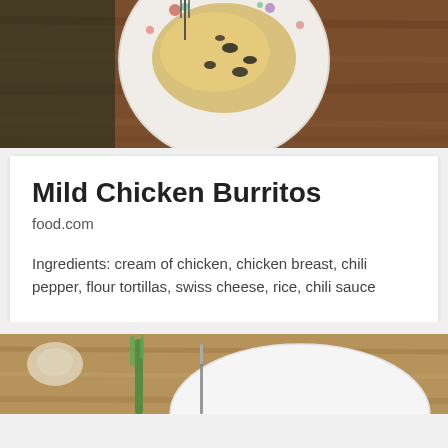[Figure (photo): Overhead view of a decorated plate with food (chicken burrito filling) on a wooden table, with a fork visible]
Mild Chicken Burritos
food.com
Ingredients: cream of chicken, chicken breast, chili pepper, flour tortillas, swiss cheese, rice, chili sauce
[Figure (photo): Close-up of a white plate on a wooden cutting board with a knife and green onion/scallion visible]